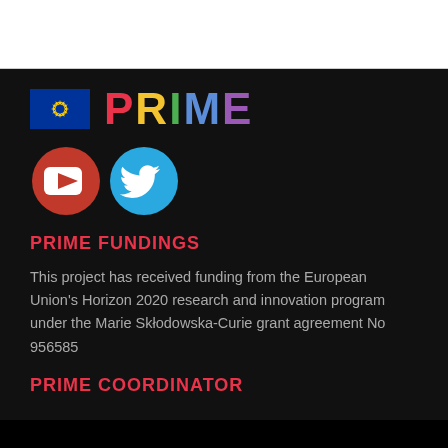[Figure (logo): EU flag and PRIME colorful text logo, with YouTube and Twitter social media icons below]
PRIME FUNDINGS
This project has received funding from the European Union's Horizon 2020 research and innovation program under the Marie Skłodowska-Curie grant agreement No 956585
PRIME COORDINATOR